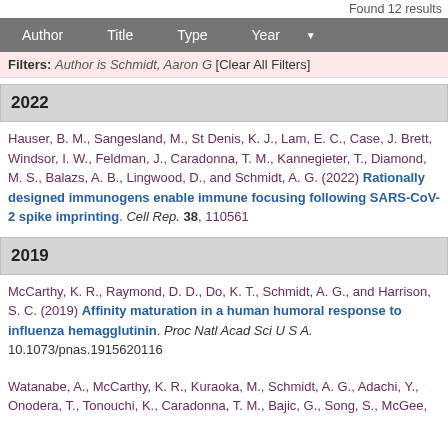Found 12 results
Author  Title  Type  Year
Filters: Author is Schmidt, Aaron G [Clear All Filters]
2022
Hauser, B. M., Sangesland, M., St Denis, K. J., Lam, E. C., Case, J. Brett, Windsor, I. W., Feldman, J., Caradonna, T. M., Kannegieter, T., Diamond, M. S., Balazs, A. B., Lingwood, D., and Schmidt, A. G. (2022) Rationally designed immunogens enable immune focusing following SARS-CoV-2 spike imprinting. Cell Rep. 38, 110561
2019
McCarthy, K. R., Raymond, D. D., Do, K. T., Schmidt, A. G., and Harrison, S. C. (2019) Affinity maturation in a human humoral response to influenza hemagglutinin. Proc Natl Acad Sci U S A. 10.1073/pnas.1915620116
Watanabe, A., McCarthy, K. R., Kuraoka, M., Schmidt, A. G., Adachi, Y., Onodera, T., Tonouchi, K., Caradonna, T. M., Bajic, G., Song, S., McGee, ...